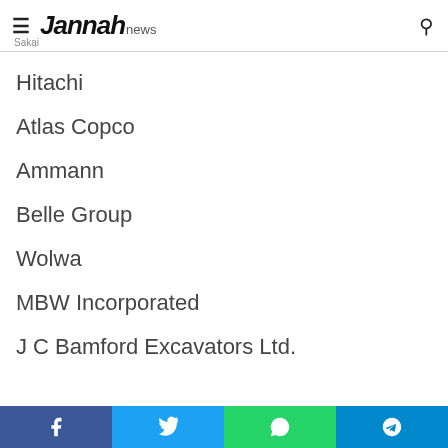Jannah news | Sakai
Hitachi
Atlas Copco
Ammann
Belle Group
Wolwa
MBW Incorporated
J C Bamford Excavators Ltd.
Facebook | Twitter | WhatsApp | Telegram